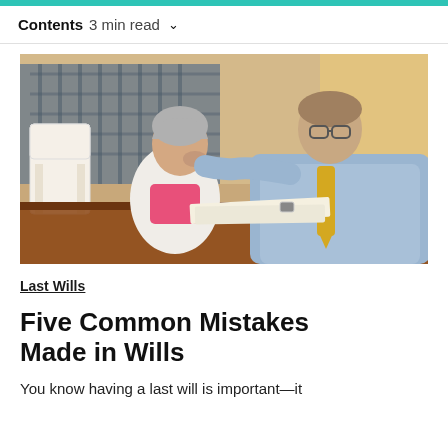Contents  3 min read
[Figure (photo): An older woman sits at a wooden table looking distressed at papers, while a man in a light blue shirt and yellow tie places a comforting hand on her shoulder and looks at the documents with her. A plaid chair is visible in the background.]
Last Wills
Five Common Mistakes Made in Wills
You know having a last will is important—it